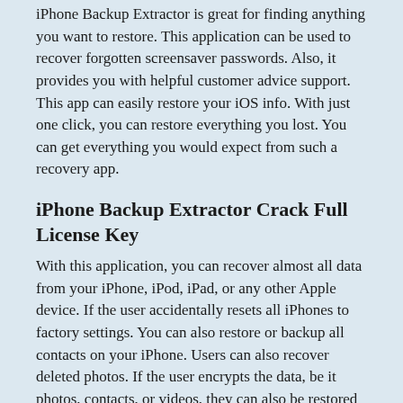iPhone Backup Extractor is great for finding anything you want to restore. This application can be used to recover forgotten screensaver passwords. Also, it provides you with helpful customer advice support. This app can easily restore your iOS info. With just one click, you can restore everything you lost. You can get everything you would expect from such a recovery app.
iPhone Backup Extractor Crack Full License Key
With this application, you can recover almost all data from your iPhone, iPod, iPad, or any other Apple device. If the user accidentally resets all iPhones to factory settings. You can also restore or backup all contacts on your iPhone. Users can also recover deleted photos. If the user encrypts the data, be it photos, contacts, or videos, they can also be restored with one click. It will help you to recover messages from iCloud.
iPhone Backup Extractor can completely find everything you want to recover. This software is perfect for your system. Since the data may be lost accidentally, don't worry, they will also restore the lost data many times. iPhone